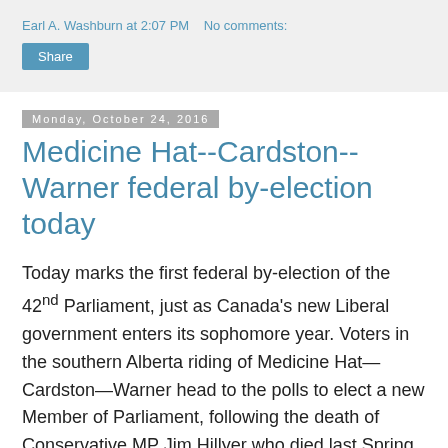Earl A. Washburn at 2:07 PM   No comments:
Share
Monday, October 24, 2016
Medicine Hat--Cardston--Warner federal by-election today
Today marks the first federal by-election of the 42nd Parliament, just as Canada's new Liberal government enters its sophomore year. Voters in the southern Alberta riding of Medicine Hat—Cardston—Warner head to the polls to elect a new Member of Parliament, following the death of Conservative MP Jim Hillyer who died last Spring due to cardiomyopathy. Hillyer was first elected to Parliament in 2011 in the neighbouring riding of Lethbridge, and switched to the Medicine Hat riding for the 2015 election, when its...